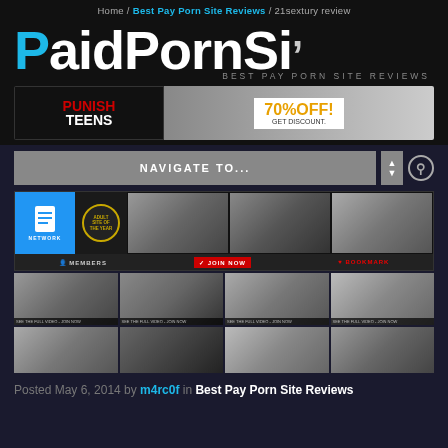Home / Best Pay Porn Site Reviews / 21sextury review
PaidPornSi
BEST PAY PORN SITE REVIEWS
[Figure (photo): Banner advertisement for PunishTeens with 70% OFF discount]
NAVIGATE TO...
[Figure (screenshot): 21sextury website preview showing network icon, award badge, and thumbnail images with MEMBERS, JOIN NOW, and BOOKMARK buttons]
[Figure (photo): Grid of 8 video thumbnail images from the site in two rows]
Posted May 6, 2014 by m4rc0f in Best Pay Porn Site Reviews